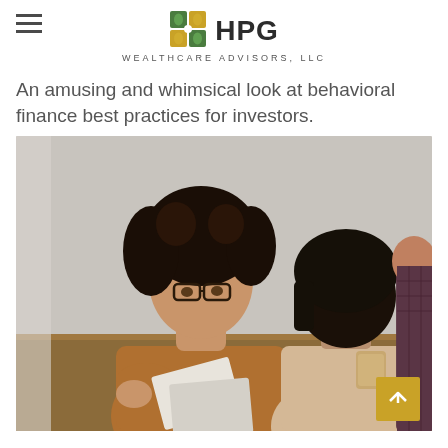HPG WEALTHCARE ADVISORS, LLC
An amusing and whimsical look at behavioral finance best practices for investors.
[Figure (photo): A financial advisor with curly hair and glasses wearing a brown sweater explains documents or a tablet to two clients seated across from her at a table, in a bright office setting.]